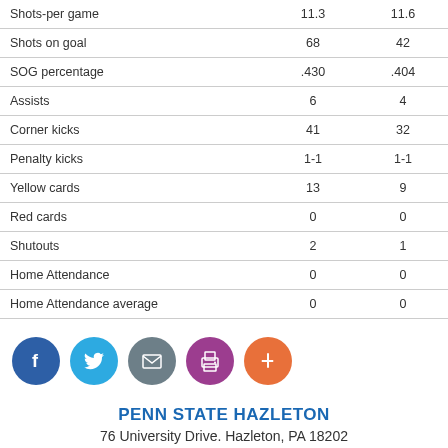|  | Col1 | Col2 |
| --- | --- | --- |
| Shots-per game | 11.3 | 11.6 |
| Shots on goal | 68 | 42 |
| SOG percentage | .430 | .404 |
| Assists | 6 | 4 |
| Corner kicks | 41 | 32 |
| Penalty kicks | 1-1 | 1-1 |
| Yellow cards | 13 | 9 |
| Red cards | 0 | 0 |
| Shutouts | 2 | 1 |
| Home Attendance | 0 | 0 |
| Home Attendance average | 0 | 0 |
[Figure (infographic): Social media share icons: Facebook (blue), Twitter (light blue), Email (gray), Print (purple), Add (orange)]
PENN STATE HAZLETON
76 University Drive. Hazleton, PA 18202
Privacy Policy